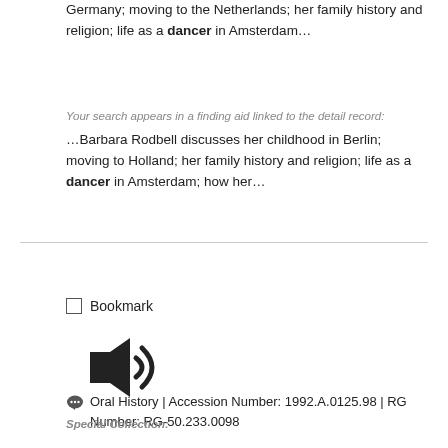Germany; moving to the Netherlands; her family history and religion; life as a dancer in Amsterdam…
Your search appears in a finding aid linked to the detail record:
…Barbara Rodbell discusses her childhood in Berlin; moving to Holland; her family history and religion; life as a dancer in Amsterdam; how her…
6. Oral history interview with Pola Nirenska
Bookmark
[Figure (other): Audio speaker icon indicating audio content]
Oral History | Accession Number: 1992.A.0125.98 | RG Number: RG-50.233.0098
Special Collection:
The Jeff and Toby Herr Oral History Archive
…Ballet dancing….